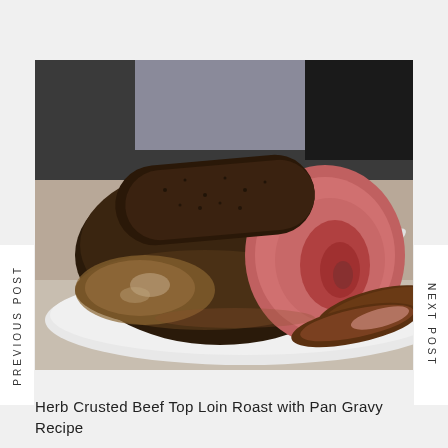[Figure (photo): A herb-crusted beef top loin roast sliced open showing pink medium-rare interior, served on a white plate with a white gravy boat filled with pan gravy in the background, on a granite countertop.]
PREVIOUS POST
NEXT POST
Herb Crusted Beef Top Loin Roast with Pan Gravy Recipe